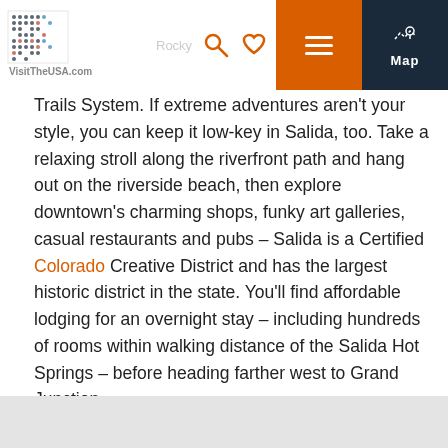VisitTheUSA.com - navigation bar with logo, search, favorites, menu, and map icons
than 3,000 meters altitude, it boasts some of Rocky Mountain scenery and looking option closer to town is the Trails System. If extreme adventures aren't your style, you can keep it low-key in Salida, too. Take a relaxing stroll along the riverfront path and hang out on the riverside beach, then explore downtown's charming shops, funky art galleries, casual restaurants and pubs – Salida is a Certified Colorado Creative District and has the largest historic district in the state. You'll find affordable lodging for an overnight stay – including hundreds of rooms within walking distance of the Salida Hot Springs – before heading farther west to Grand Junction.
More information
Chaffee County Visitors Bureau
You may enjoy